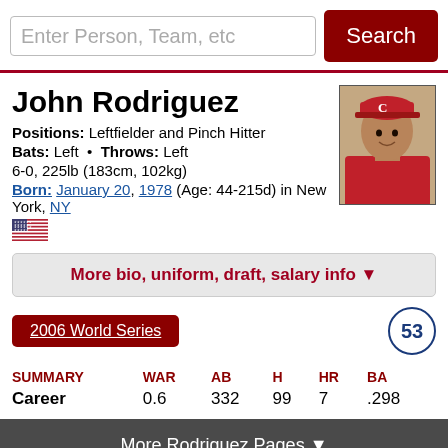Enter Person, Team, etc   Search
John Rodriguez
Positions: Leftfielder and Pinch Hitter
Bats: Left • Throws: Left
6-0, 225lb (183cm, 102kg)
Born: January 20, 1978 (Age: 44-215d) in New York, NY
[Figure (photo): Headshot of John Rodriguez wearing a St. Louis Cardinals red cap with C logo]
More bio, uniform, draft, salary info ▼
2006 World Series
53
| SUMMARY | WAR | AB | H | HR | BA |
| --- | --- | --- | --- | --- | --- |
| Career | 0.6 | 332 | 99 | 7 | .298 |
More Rodriguez Pages ▼
Standard Batting